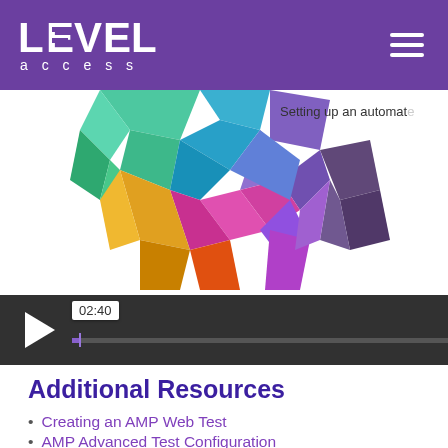LEVEL access
[Figure (screenshot): Video player showing a colorful low-poly human head illustration. The player bar shows a play button, a time tooltip reading '02:40', and a progress bar. Text overlay reads 'Setting up an automate']
Additional Resources
Creating an AMP Web Test
AMP Advanced Test Configuration
Running a Test On-Demand